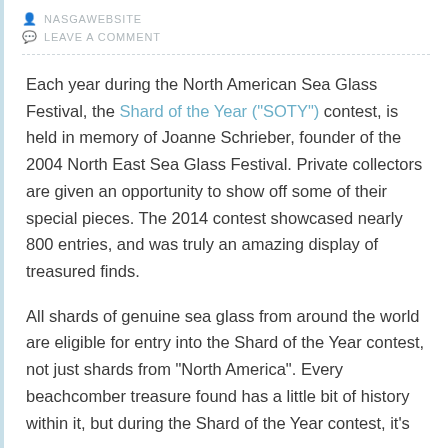NASGAWEBSITE
LEAVE A COMMENT
Each year during the North American Sea Glass Festival, the Shard of the Year (“SOTY”) contest, is held in memory of Joanne Schrieber, founder of the 2004 North East Sea Glass Festival.  Private collectors are given an opportunity to show off some of their special pieces.  The 2014 contest showcased nearly 800 entries, and was truly an amazing display of treasured finds.
All shards of genuine sea glass from around the world are eligible for entry into the Shard of the Year contest, not just shards from “North America”.   Every beachcomber treasure found has a little bit of history within it, but during the Shard of the Year contest, it’s